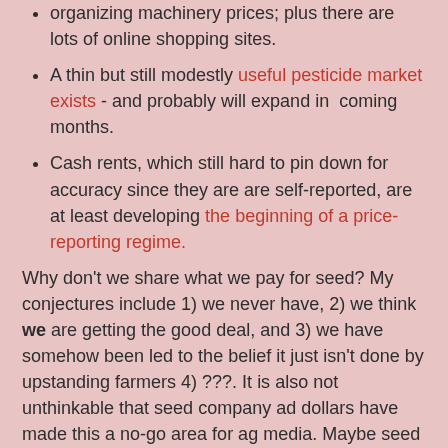organizing machinery prices; plus there are lots of online shopping sites.
A thin but still modestly useful pesticide market exists - and probably will expand in coming months.
Cash rents, which still hard to pin down for accuracy since they are are self-reported, are at least developing the beginning of a price-reporting regime.
Why don't we share what we pay for seed? My conjectures include 1) we never have, 2) we think we are getting the good deal, and 3) we have somehow been led to the belief it just isn't done by upstanding farmers 4) ???. It is also not unthinkable that seed company ad dollars have made this a no-go area for ag media. Maybe seed pricing is too explosive to touch.
I honestly don't know. But I think it would be fun to find out.
The Internet has broken open lots of formerly dark markets